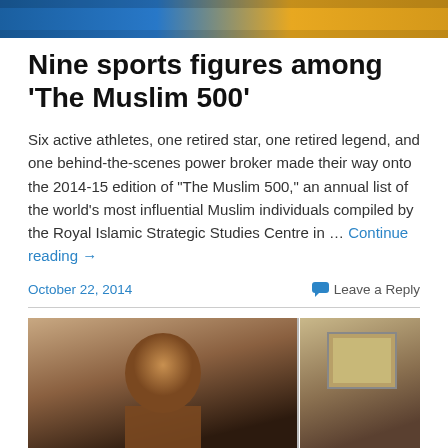[Figure (photo): Cropped top portion of a sports photo showing players in blue and yellow jerseys]
Nine sports figures among ‘The Muslim 500’
Six active athletes, one retired star, one retired legend, and one behind-the-scenes power broker made their way onto the 2014-15 edition of "The Muslim 500," an annual list of the world's most influential Muslim individuals compiled by the Royal Islamic Strategic Studies Centre in ... Continue reading →
October 22, 2014
Leave a Reply
[Figure (photo): Bottom portion of page showing a photo of a person, partially cropped]